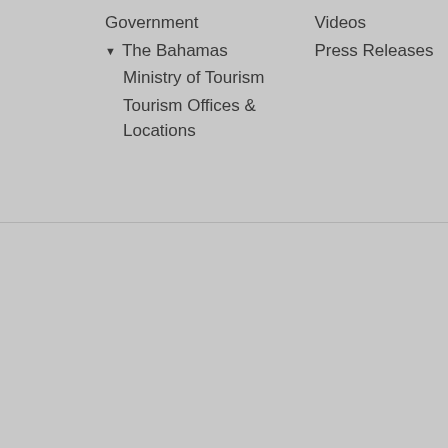Government
▼ The Bahamas
Ministry of Tourism
Tourism Offices & Locations
Videos
Press Releases